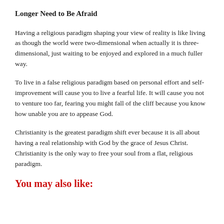Longer Need to Be Afraid
Having a religious paradigm shaping your view of reality is like living as though the world were two-dimensional when actually it is three-dimensional, just waiting to be enjoyed and explored in a much fuller way.
To live in a false religious paradigm based on personal effort and self-improvement will cause you to live a fearful life. It will cause you not to venture too far, fearing you might fall of the cliff because you know how unable you are to appease God.
Christianity is the greatest paradigm shift ever because it is all about having a real relationship with God by the grace of Jesus Christ. Christianity is the only way to free your soul from a flat, religious paradigm.
You may also like: